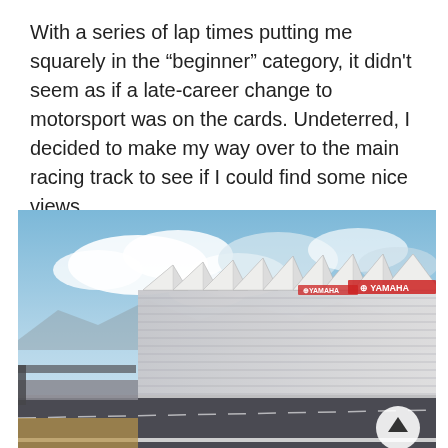With a series of lap times putting me squarely in the “beginner” category, it didn't seem as if a late-career change to motorsport was on the cards. Undeterred, I decided to make my way over to the main racing track to see if I could find some nice views.
[Figure (photo): A wide empty motorsport racing track with large grandstands covered by a sawtooth-style canopy roof. Yamaha sponsor banners are visible on the stands. Blue sky with white clouds in the background, mountains visible in the distance. The pit straight is in the foreground.]